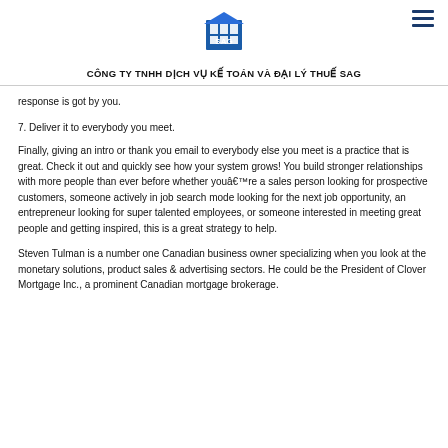[Figure (logo): SAG company logo with blue building graphic and 'SAG' text]
CÔNG TY TNHH DỊCH VỤ KẾ TOÁN VÀ ĐẠI LÝ THUẾ SAG
response is got by you.
7. Deliver it to everybody you meet.
Finally, giving an intro or thank you email to everybody else you meet is a practice that is great. Check it out and quickly see how your system grows! You build stronger relationships with more people than ever before whether youâ€™re a sales person looking for prospective customers, someone actively in job search mode looking for the next job opportunity, an entrepreneur looking for super talented employees, or someone interested in meeting great people and getting inspired, this is a great strategy to help.
Steven Tulman is a number one Canadian business owner specializing when you look at the monetary solutions, product sales & advertising sectors. He could be the President of Clover Mortgage Inc., a prominent Canadian mortgage brokerage.